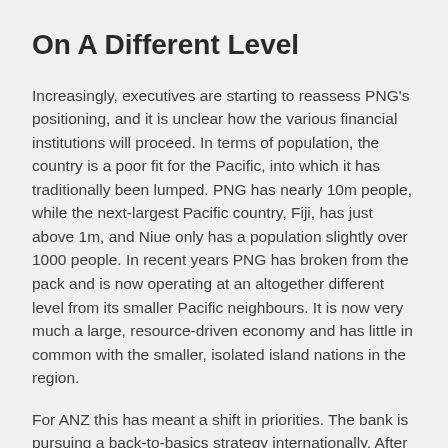On A Different Level
Increasingly, executives are starting to reassess PNG's positioning, and it is unclear how the various financial institutions will proceed. In terms of population, the country is a poor fit for the Pacific, into which it has traditionally been lumped. PNG has nearly 10m people, while the next-largest Pacific country, Fiji, has just above 1m, and Niue only has a population slightly over 1000 people. In recent years PNG has broken from the pack and is now operating at an altogether different level from its smaller Pacific neighbours. It is now very much a large, resource-driven economy and has little in common with the smaller, isolated island nations in the region.
For ANZ this has meant a shift in priorities. The bank is pursuing a back-to-basics strategy internationally. After expanding rapidly into Asia for about a decade, it is now taking stock and finding that the heavy investment to become a regional powerhouse was expensive and did not yield the hoped-for returns. The institution is maintaining its footprint, but is